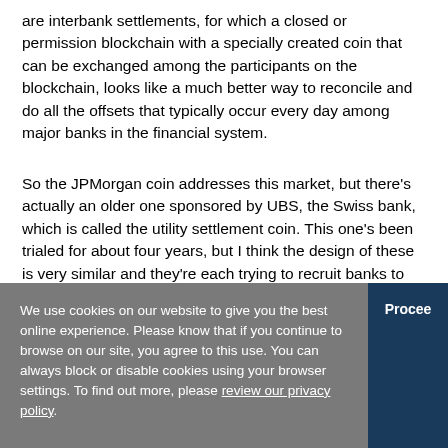are interbank settlements, for which a closed or permission blockchain with a specially created coin that can be exchanged among the participants on the blockchain, looks like a much better way to reconcile and do all the offsets that typically occur every day among major banks in the financial system.
So the JPMorgan coin addresses this market, but there's actually an older one sponsored by UBS, the Swiss bank, which is called the utility settlement coin. This one's been trialed for about four years, but I think the design of these is very similar and they're each trying to recruit banks to their platform. I think if I'm a bank I would probably join both of them. I'm not sure if these are going to be competitors or be mutually exclusive, but it's meant to essentially eliminate a lot of the duplicative recordkeeping, to eliminate the need for arbitration of disputes, and simply to improve the speed and accuracy of transfers between banks.
We use cookies on our website to give you the best online experience. Please know that if you continue to browse on our site, you agree to this use. You can always block or disable cookies using your browser settings. To find out more, please review our privacy policy.